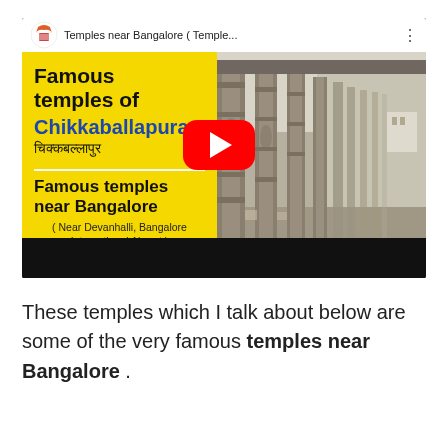[Figure (screenshot): YouTube video thumbnail showing 'Temples near Bangalore (Temple...)' with left yellow panel showing 'Famous temples of Chikkaballapura' in English and Hindi, a YouTube play button, and right panel showing stone temple columns. Below the video area is a black control bar.]
These temples which I talk about below are some of the very famous temples near Bangalore .